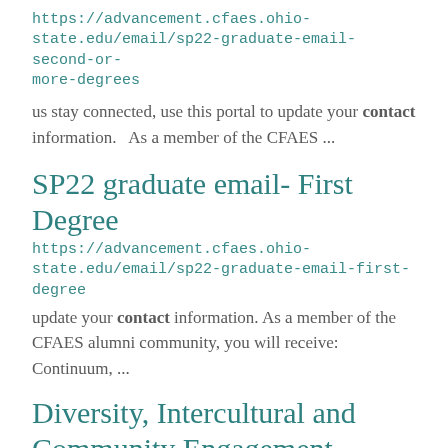https://advancement.cfaes.ohio-state.edu/email/sp22-graduate-email-second-or-more-degrees
us stay connected, use this portal to update your contact information.  As a member of the CFAES ...
SP22 graduate email- First Degree
https://advancement.cfaes.ohio-state.edu/email/sp22-graduate-email-first-degree
update your contact information. As a member of the CFAES alumni community, you will receive: Continuum, ...
Diversity, Intercultural and Community Engagement